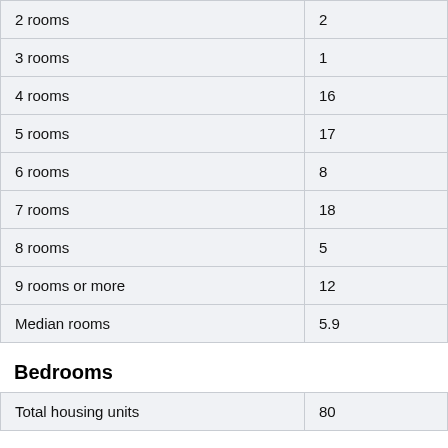| 2 rooms | 2 |
| 3 rooms | 1 |
| 4 rooms | 16 |
| 5 rooms | 17 |
| 6 rooms | 8 |
| 7 rooms | 18 |
| 8 rooms | 5 |
| 9 rooms or more | 12 |
| Median rooms | 5.9 |
Bedrooms
| Total housing units | 80 |